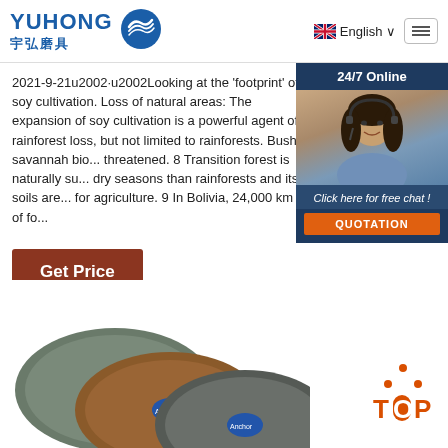YUHONG 宇弘磨具 | English
2021-9-21u2002·u2002Looking at the 'footprint' of soy cultivation. Loss of natural areas: The expansion of soy cultivation is a powerful agent of rainforest loss, but not limited to rainforests. Bush savannah biomes are also threatened. 8 Transition forest is naturally suited to dry seasons than rainforests and its soils are well suited for agriculture. 9 In Bolivia, 24,000 km 2 of fo
[Figure (photo): Customer service representative (woman with headset) in chat widget with '24/7 Online' header and 'Click here for free chat! QUOTATION' button]
Get Price
[Figure (photo): Grinding wheels / abrasive cutting discs stacked together, showing product offering]
[Figure (other): TOP button with orange dots and text]